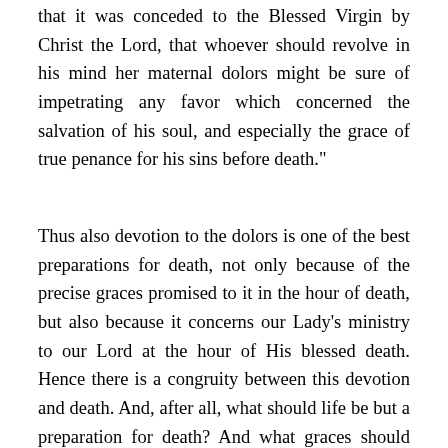that it was conceded to the Blessed Virgin by Christ the Lord, that whoever should revolve in his mind her maternal dolors might be sure of impetrating any favor which concerned the salvation of his soul, and especially the grace of true penance for his sins before death."
Thus also devotion to the dolors is one of the best preparations for death, not only because of the precise graces promised to it in the hour of death, but also because it concerns our Lady's ministry to our Lord at the hour of His blessed death. Hence there is a congruity between this devotion and death. And, after all, what should life be but a preparation for death? And what graces should more attract our humility